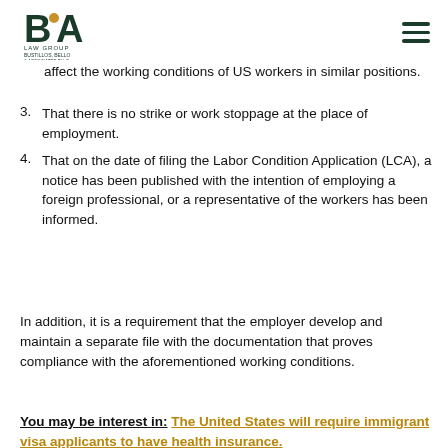BA Law Group Bustillos, Bello & Associates PLLC
affect the working conditions of US workers in similar positions.
3. That there is no strike or work stoppage at the place of employment.
4. That on the date of filing the Labor Condition Application (LCA), a notice has been published with the intention of employing a foreign professional, or a representative of the workers has been informed.
In addition, it is a requirement that the employer develop and maintain a separate file with the documentation that proves compliance with the aforementioned working conditions.
You may be interest in: The United States will require immigrant visa applicants to have health insurance.
[Figure (photo): American flag close-up photo showing stars and stripes]